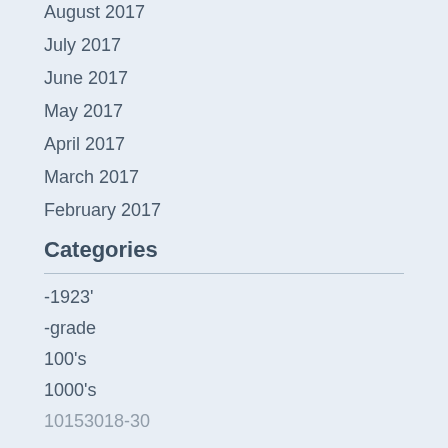August 2017
July 2017
June 2017
May 2017
April 2017
March 2017
February 2017
Categories
-1923'
-grade
100's
1000's
10153018-30